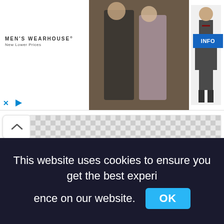[Figure (screenshot): Men's Wearhouse advertisement banner showing a couple in formal wear and a mannequin in a suit, with an INFO button]
[Figure (screenshot): Coloring Sheep png image placeholder with checkered transparency background, 558x597px, with collapse button]
Coloring Sheep png
558x597px
[Figure (screenshot): Second checkered transparency placeholder area]
This website uses cookies to ensure you get the best experience on our website.
OK